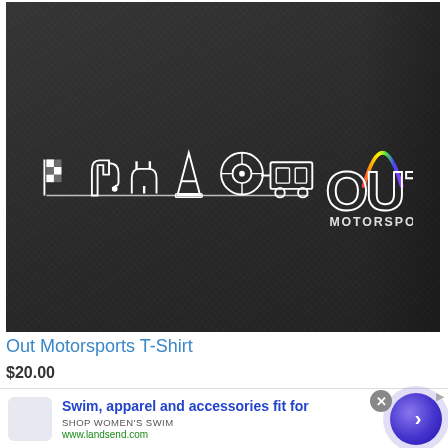[Figure (photo): Dark gray heather t-shirt with white OUT Motorsports logo printed on the chest. The logo shows a horizontal line with motorsports icons (checkered flag, fueling nozzle, electric plug, traffic cone, steering wheel/tire, trailer/camper) and the stylized word OUT with a rainbow speedometer arc above the T, and MOTORSPORTS text beneath.]
Out Motorsports T-Shirt
$20.00
Swim, apparel and accessories fit for
SHOP WOMEN'S SWIM
www.landsend.com